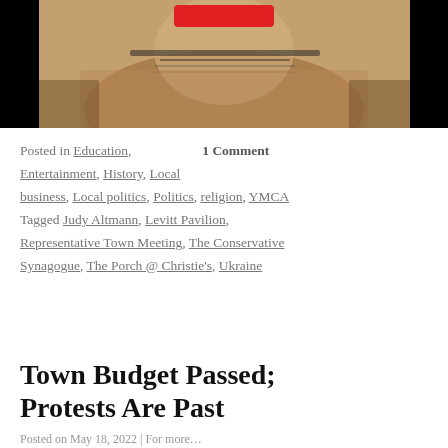[Figure (photo): Sepia-toned historical photograph of a person wearing traditional Native American clothing with beaded necklaces, partially obscured by a red redaction bar at the top. Image set against a black background.]
Posted in Education, Entertainment, History, Local business, Local politics, Politics, religion, YMCA Tagged Judy Altmann, Levitt Pavilion, Representative Town Meeting, The Conservative Synagogue, The Porch @ Christie's, Ukraine 1 Comment
Town Budget Passed; Protests Are Past
Posted on May 18, 2022 | For more...